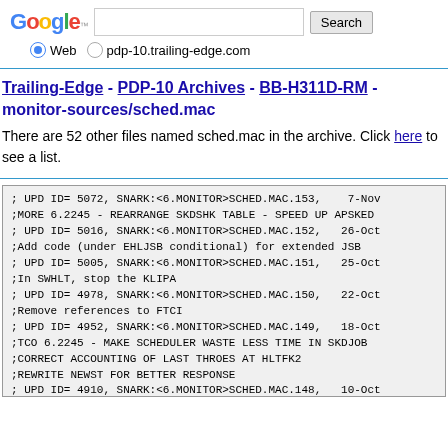[Figure (screenshot): Google search bar with logo, text input field, Search button, and radio buttons for Web and pdp-10.trailing-edge.com]
Trailing-Edge - PDP-10 Archives - BB-H311D-RM - monitor-sources/sched.mac
There are 52 other files named sched.mac in the archive. Click here to see a list.
; UPD ID= 5072, SNARK:<6.MONITOR>SCHED.MAC.153,  7-Nov
;MORE 6.2245 - REARRANGE SKDSHK TABLE - SPEED UP APSKED
; UPD ID= 5016, SNARK:<6.MONITOR>SCHED.MAC.152,  26-Oct
;Add code (under EHLJSB conditional) for extended JSB
; UPD ID= 5005, SNARK:<6.MONITOR>SCHED.MAC.151,  25-Oct
;In SWHLT, stop the KLIPA
; UPD ID= 4978, SNARK:<6.MONITOR>SCHED.MAC.150,  22-Oct
;Remove references to FTCI
; UPD ID= 4952, SNARK:<6.MONITOR>SCHED.MAC.149,  18-Oct
;TCO 6.2245 - MAKE SCHEDULER WASTE LESS TIME IN SKDJOB
;CORRECT ACCOUNTING OF LAST THROES AT HLTFK2
;REWRITE NEWST FOR BETTER RESPONSE
; UPD ID= 4910, SNARK:<6.MONITOR>SCHED.MAC.148,  10-Oct
;TCO 6.2241 - Call SETPSK before deleting user UPT in H
; UPD ID= 4833, SNARK:<6.MONITOR>SCHED.MAC.147,  17-Sep